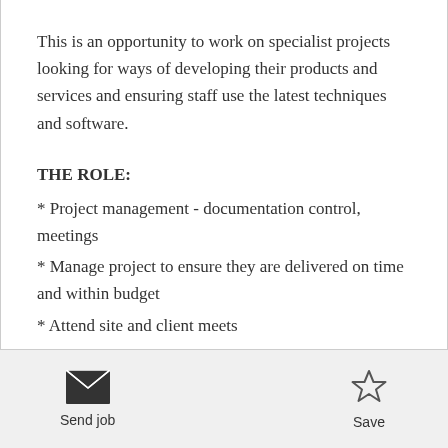This is an opportunity to work on specialist projects looking for ways of developing their products and services and ensuring staff use the latest techniques and software.
THE ROLE:
* Project management - documentation control, meetings
* Manage project to ensure they are delivered on time and within budget
* Attend site and client meets
THE PERSON:
Send job   Save